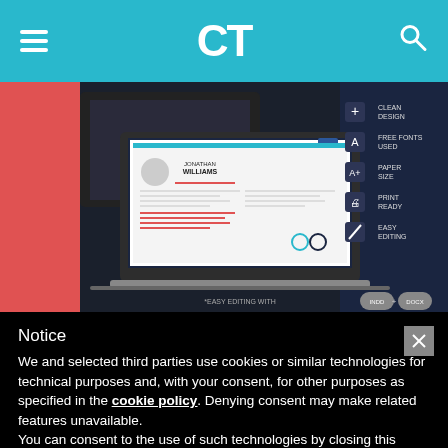CT
[Figure (screenshot): Screenshot of a resume template website showing a laptop displaying a resume for 'Jonathan Williams' with feature icons: Clean Design, Free Fonts Used, Paper Size, Print Ready, Easy Editing. Red and dark blue color scheme.]
Notice
We and selected third parties use cookies or similar technologies for technical purposes and, with your consent, for other purposes as specified in the cookie policy. Denying consent may make related features unavailable.
You can consent to the use of such technologies by closing this notice, by scrolling this page, by interacting with any link or button outside of this notice or by continuing to browse otherwise.